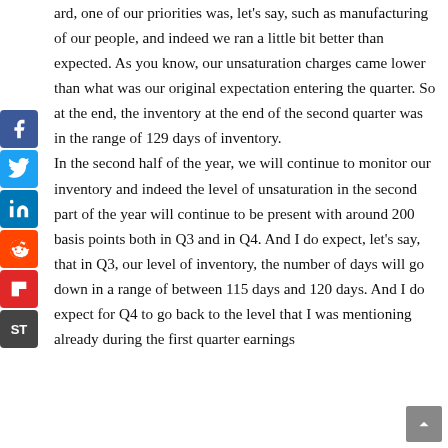ard, one of our priorities was, let's say, such as manufacturing of our people, and indeed we ran a little bit better than expected. As you know, our unsaturation charges came lower than what was our original expectation entering the quarter. So at the end, the inventory at the end of the second quarter was in the range of 129 days of inventory.

In the second half of the year, we will continue to monitor our inventory and indeed the level of unsaturation in the second part of the year will continue to be present with around 200 basis points both in Q3 and in Q4. And I do expect, let's say, that in Q3, our level of inventory, the number of days will go down in a range of between 115 days and 120 days. And I do expect for Q4 to go back to the level that I was mentioning already during the first quarter earnings